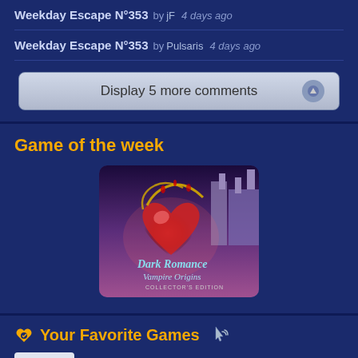Weekday Escape N°353  by jF  4 days ago
Weekday Escape N°353  by Pulsaris  4 days ago
Display 5 more comments
Game of the week
[Figure (photo): Dark Romance Vampire Origins Collector's Edition game cover art showing a glowing red heart with chains, misty castle in background, and fantasy artwork]
Your Favorite Games
[Figure (screenshot): Small thumbnail placeholder with a plus/cross symbol on a light background]